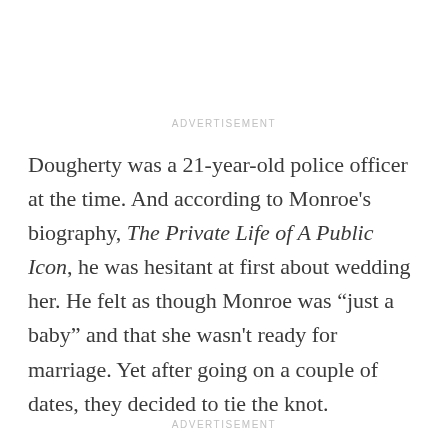ADVERTISEMENT
Dougherty was a 21-year-old police officer at the time. And according to Monroe's biography, The Private Life of A Public Icon, he was hesitant at first about wedding her. He felt as though Monroe was “just a baby” and that she wasn't ready for marriage. Yet after going on a couple of dates, they decided to tie the knot.
ADVERTISEMENT